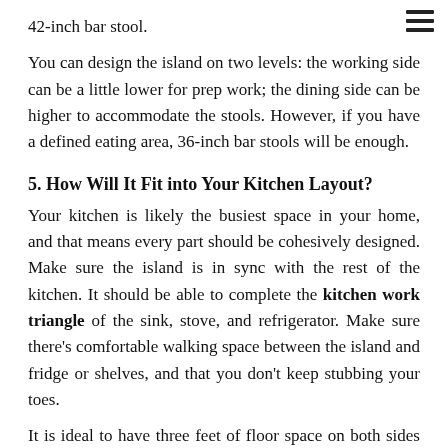42-inch bar stool.
You can design the island on two levels: the working side can be a little lower for prep work; the dining side can be higher to accommodate the stools. However, if you have a defined eating area, 36-inch bar stools will be enough.
5. How Will It Fit into Your Kitchen Layout?
Your kitchen is likely the busiest space in your home, and that means every part should be cohesively designed. Make sure the island is in sync with the rest of the kitchen. It should be able to complete the kitchen work triangle of the sink, stove, and refrigerator. Make sure there's comfortable walking space between the island and fridge or shelves, and that you don't keep stubbing your toes.
It is ideal to have three feet of floor space on both sides of the island. There should be a minimum of 42 inches of space on the working side of the island, but keep it under